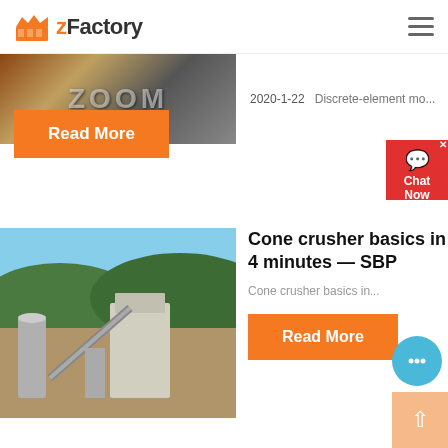zFactory
2020-1-22   Discrete-element mo...
[Figure (photo): Industrial factory interior with machinery]
Read More
[Figure (photo): Aerial view of a quarry or mining site with conveyors and silos surrounded by green hills]
Cone crusher basics in 4 minutes — SBP
Cone crusher basics in...
Read More